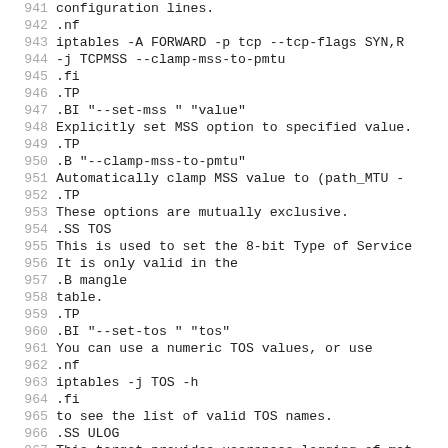941  configuration lines.
942  .nf
943   iptables -A FORWARD -p tcp --tcp-flags SYN,R
944              -j TCPMSS --clamp-mss-to-pmtu
945  .fi
946  .TP
947  .BI "--set-mss " "value"
948  Explicitly set MSS option to specified value.
949  .TP
950  .B "--clamp-mss-to-pmtu"
951  Automatically clamp MSS value to (path_MTU -
952  .TP
953  These options are mutually exclusive.
954  .SS TOS
955  This is used to set the 8-bit Type of Service
956  It is only valid in the
957  .B mangle
958  table.
959  .TP
960  .BI "--set-tos " "tos"
961  You can use a numeric TOS values, or use
962  .nf
963   iptables -j TOS -h
964  .fi
965  to see the list of valid TOS names.
966  .SS ULOG
967  This target provides userspace logging of mat
968  target is set for a rule, the Linux kernel wi
969  through a
970  .IR netlink
971  socket. One or more userspace processes may t